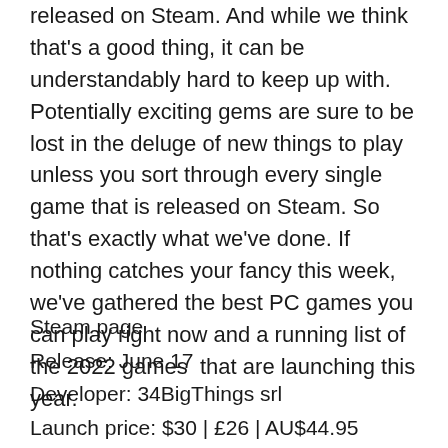released on Steam. And while we think that's a good thing, it can be understandably hard to keep up with. Potentially exciting gems are sure to be lost in the deluge of new things to play unless you sort through every single game that is released on Steam. So that's exactly what we've done. If nothing catches your fancy this week, we've gathered the best PC games you can play right now and a running list of the 2022 games that are launching this year.
Steam page
Release: June 17
Developer: 34BigThings srl
Launch price: $30 | £26 | AU$44.95